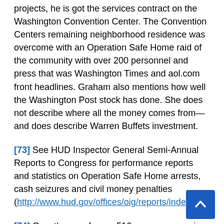projects, he is got the services contract on the Washington Convention Center. The Convention Centers remaining neighborhood residence was overcome with an Operation Safe Home raid of the community with over 200 personnel and press that was Washington Times and aol.com front headlines. Graham also mentions how well the Washington Post stock has done. She does not describe where all the money comes from—and does describe Warren Buffets investment.
[73] See HUD Inspector General Semi-Annual Reports to Congress for performance reports and statistics on Operation Safe Home arrests, cash seizures and civil money penalties (http://www.hud.gov/offices/oig/reports/index.cfm).
[74] Growth came from a 516-person expansion at the Big Spring facilities acquired in 1996 as well as several state governments. Between May and September 1997, Cornell acquired Abraxas, a provider of juvenile services, which gave Cornell an additional aggregate capacity of 1,400 children